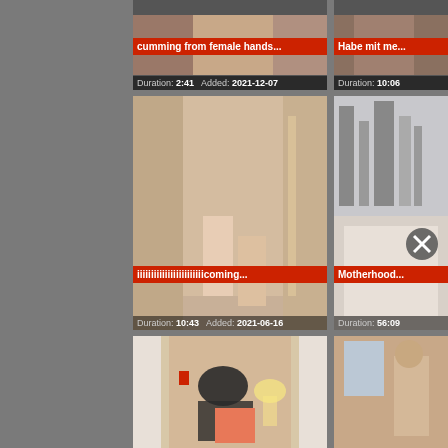[Figure (screenshot): Video thumbnail grid - adult video website screenshot showing video cards with thumbnails, titles, durations and dates]
cumming from female hands...
Duration: 2:41   Added: 2021-12-07
Habe mit me...
Duration: 10:06
iiiiiiiiiiiiiiiiiiiiiiiicoming...
Duration: 10:43   Added: 2021-06-16
Motherhood...
Duration: 56:09